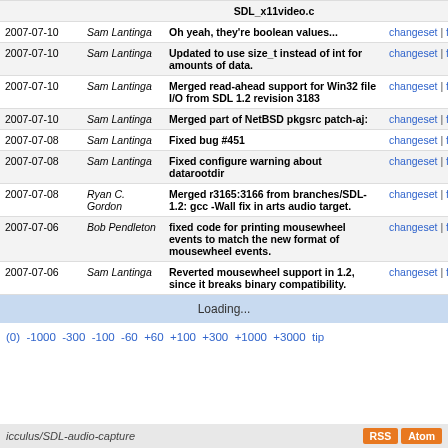| Date | Author | Message | Links |
| --- | --- | --- | --- |
|  |  | SDL_x11video.c |  |
| 2007-07-10 | Sam Lantinga | Oh yeah, they're boolean values... | changeset | files |
| 2007-07-10 | Sam Lantinga | Updated to use size_t instead of int for amounts of data. | changeset | files |
| 2007-07-10 | Sam Lantinga | Merged read-ahead support for Win32 file I/O from SDL 1.2 revision 3183 | changeset | files |
| 2007-07-10 | Sam Lantinga | Merged part of NetBSD pkgsrc patch-aj: | changeset | files |
| 2007-07-08 | Sam Lantinga | Fixed bug #451 | changeset | files |
| 2007-07-08 | Sam Lantinga | Fixed configure warning about datarootdir | changeset | files |
| 2007-07-08 | Ryan C. Gordon | Merged r3165:3166 from branches/SDL-1.2: gcc -Wall fix in arts audio target. | changeset | files |
| 2007-07-06 | Bob Pendleton | fixed code for printing mousewheel events to match the new format of mousewheel events. | changeset | files |
| 2007-07-06 | Sam Lantinga | Reverted mousewheel support in 1.2, since it breaks binary compatibility. | changeset | files |
Loading...
(0) -1000 -300 -100 -60 +60 +100 +300 +1000 +3000 tip
icculus/SDL-audio-capture